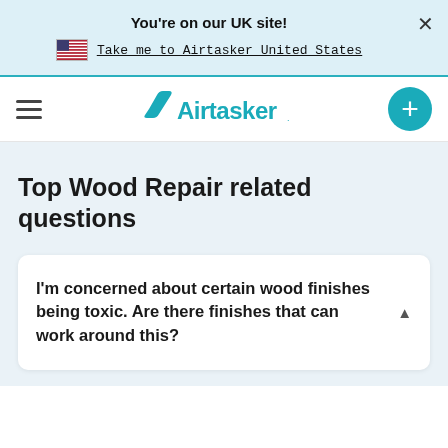You're on our UK site!
Take me to Airtasker United States
[Figure (logo): Airtasker logo with hamburger menu and plus button navigation]
Top Wood Repair related questions
I'm concerned about certain wood finishes being toxic. Are there finishes that can work around this?